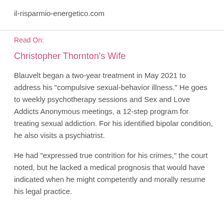il-risparmio-energetico.com
Read On:
Christopher Thornton's Wife
Blauvelt began a two-year treatment in May 2021 to address his "compulsive sexual-behavior illness." He goes to weekly psychotherapy sessions and Sex and Love Addicts Anonymous meetings, a 12-step program for treating sexual addiction. For his identified bipolar condition, he also visits a psychiatrist.
He had "expressed true contrition for his crimes," the court noted, but he lacked a medical prognosis that would have indicated when he might competently and morally resume his legal practice.